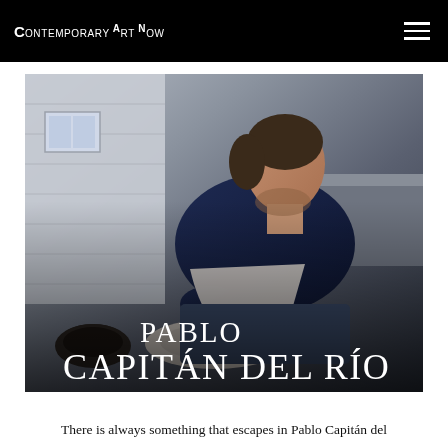CONTEMPORARY ART NOW
[Figure (photo): A man in a dark blue t-shirt and apron leaning over a pottery wheel, shaping dark clay with both hands, in a studio setting with white brick walls. Overlaid with the text 'PABLO CAPITÁN DEL RÍO'.]
PABLO CAPITÁN DEL RÍO
There is always something that escapes in Pablo Capitán del